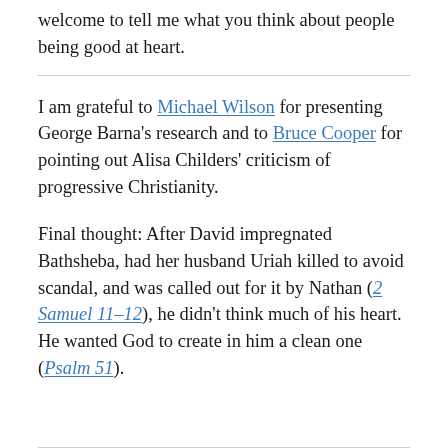welcome to tell me what you think about people being good at heart.
I am grateful to Michael Wilson for presenting George Barna's research and to Bruce Cooper for pointing out Alisa Childers' criticism of progressive Christianity.
Final thought: After David impregnated Bathsheba, had her husband Uriah killed to avoid scandal, and was called out for it by Nathan (2 Samuel 11-12), he didn't think much of his heart. He wanted God to create in him a clean one (Psalm 51).